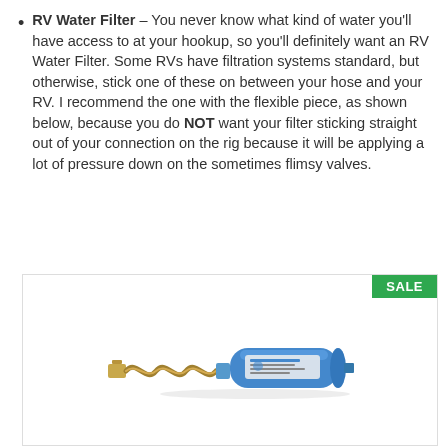RV Water Filter – You never know what kind of water you'll have access to at your hookup, so you'll definitely want an RV Water Filter. Some RVs have filtration systems standard, but otherwise, stick one of these on between your hose and your RV. I recommend the one with the flexible piece, as shown below, because you do NOT want your filter sticking straight out of your connection on the rig because it will be applying a lot of pressure down on the sometimes flimsy valves.
[Figure (photo): Product photo of an RV Water Filter — a blue cylindrical filter with a flexible hose connector and brass fittings. A green SALE badge appears in the top-right corner of the product box.]